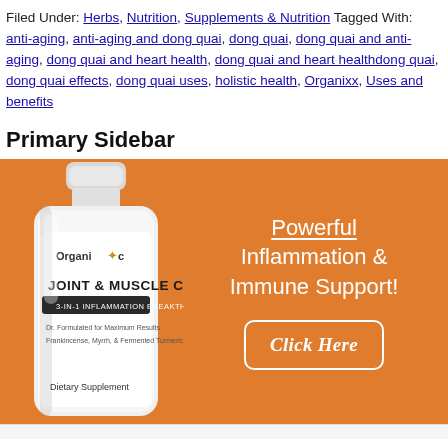Filed Under: Herbs, Nutrition, Supplements & Nutrition Tagged With: anti-aging, anti-aging and dong quai, dong quai, dong quai and anti-aging, dong quai and heart health, dong quai and heart healthdong quai, dong quai effects, dong quai uses, holistic health, Organixx, Uses and benefits
Primary Sidebar
[Figure (illustration): Advertisement banner with orange background showing Organixx Joint & Muscle Care supplement bottle on left, and text 'Powerful Inflammation & Immune Support!' with a 'Click Here' button on the right.]